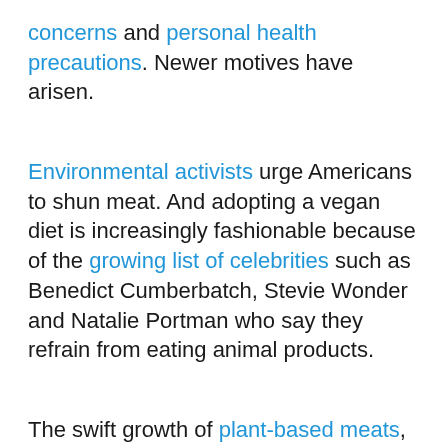concerns and personal health precautions. Newer motives have arisen.
Environmental activists urge Americans to shun meat. And adopting a vegan diet is increasingly fashionable because of the growing list of celebrities such as Benedict Cumberbatch, Stevie Wonder and Natalie Portman who say they refrain from eating animal products.
The swift growth of plant-based meats, now widely sold at grocery stores and served at fast-food restaurants, could be